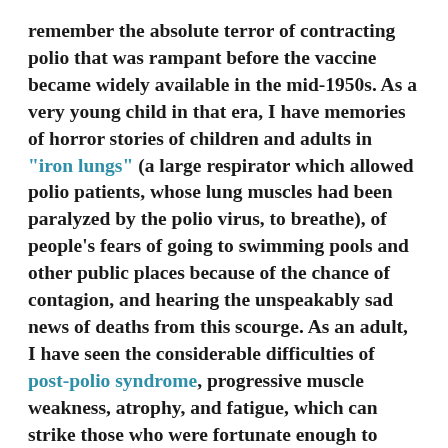remember the absolute terror of contracting polio that was rampant before the vaccine became widely available in the mid-1950s. As a very young child in that era, I have memories of horror stories of children and adults in "iron lungs" (a large respirator which allowed polio patients, whose lung muscles had been paralyzed by the polio virus, to breathe), of people's fears of going to swimming pools and other public places because of the chance of contagion, and hearing the unspeakably sad news of deaths from this scourge. As an adult, I have seen the considerable difficulties of post-polio syndrome, progressive muscle weakness, atrophy, and fatigue, which can strike those who were fortunate enough to survive the disease—sometimes forty years after